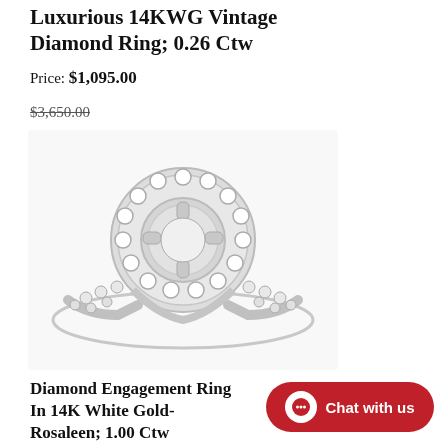Luxurious 14KWG Vintage Diamond Ring; 0.26 Ctw
Price: $1,095.00
$3,650.00
[Figure (photo): A white gold diamond engagement ring setting with a circular halo of round diamonds surrounding an open center prong mount, with diamond-set shoulders on the band. The ring is shown on a white background.]
Diamond Engagement Ring In 14K White Gold- Rosaleen; 1.00 Ctw